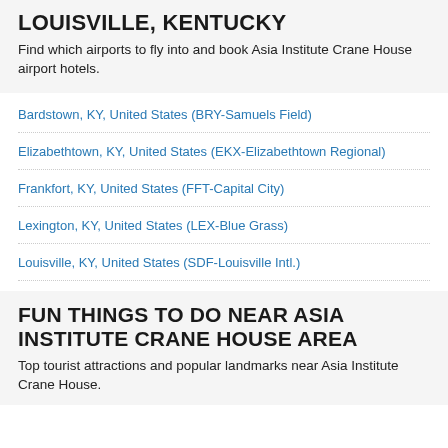LOUISVILLE, KENTUCKY
Find which airports to fly into and book Asia Institute Crane House airport hotels.
Bardstown, KY, United States (BRY-Samuels Field)
Elizabethtown, KY, United States (EKX-Elizabethtown Regional)
Frankfort, KY, United States (FFT-Capital City)
Lexington, KY, United States (LEX-Blue Grass)
Louisville, KY, United States (SDF-Louisville Intl.)
FUN THINGS TO DO NEAR ASIA INSTITUTE CRANE HOUSE AREA
Top tourist attractions and popular landmarks near Asia Institute Crane House.